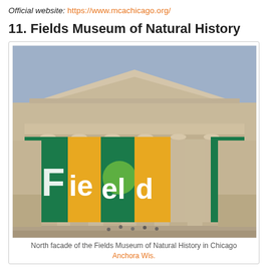Official website: https://www.mcachicago.org/
11. Fields Museum of Natural History
[Figure (photo): North facade of the Fields Museum of Natural History in Chicago, showing the classical Greek Revival architecture with large columns and colorful banners reading 'The Field Museum'.]
North facade of the Fields Museum of Natural History in Chicago Anchora Wis.